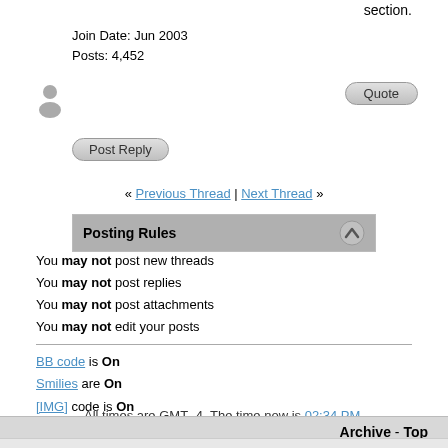section.
Join Date: Jun 2003
Posts: 4,452
[Figure (other): User avatar silhouette icon]
[Figure (other): Quote button (rounded rectangle)]
[Figure (other): Post Reply button (rounded rectangle)]
« Previous Thread | Next Thread »
Posting Rules
You may not post new threads
You may not post replies
You may not post attachments
You may not edit your posts
BB code is On
Smilies are On
[IMG] code is On
HTML code is Off
Forum Rules
All times are GMT -4. The time now is 02:34 PM.
Archive - Top
AC3D Forum
(C) Inivis Limited 2020